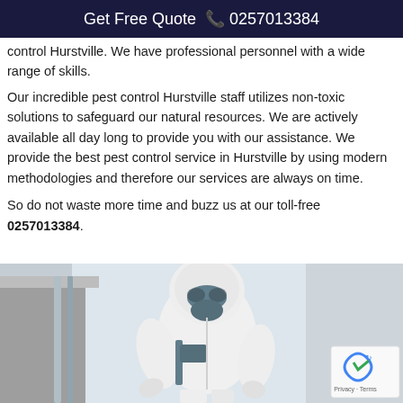Get Free Quote ☎ 0257013384
control Hurstville. We have professional personnel with a wide range of skills.
Our incredible pest control Hurstville staff utilizes non-toxic solutions to safeguard our natural resources. We are actively available all day long to provide you with our assistance. We provide the best pest control service in Hurstville by using modern methodologies and therefore our services are always on time.
So do not waste more time and buzz us at our toll-free 0257013384.
[Figure (photo): A pest control worker in white protective suit and gas mask performing pest control service, with a counter/table on the left side in the background.]